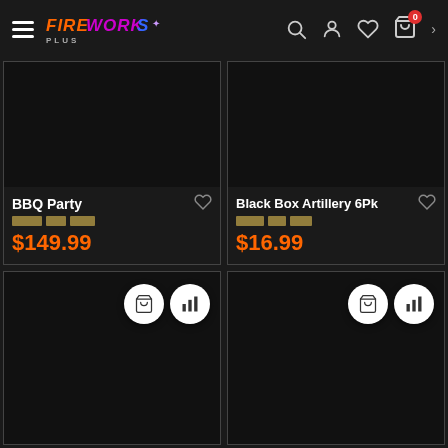Fireworks Plus — navigation header with hamburger menu, logo, search, account, wishlist, cart (0)
[Figure (photo): Product image placeholder for BBQ Party — dark/black square]
BBQ Party
$149.99
[Figure (photo): Product image placeholder for Black Box Artillery 6Pk — dark/black square]
Black Box Artillery 6Pk
$16.99
[Figure (photo): Product image placeholder — bottom left — dark/black square with cart and bar-chart action buttons]
[Figure (photo): Product image placeholder — bottom right — dark/black square with cart and bar-chart action buttons]